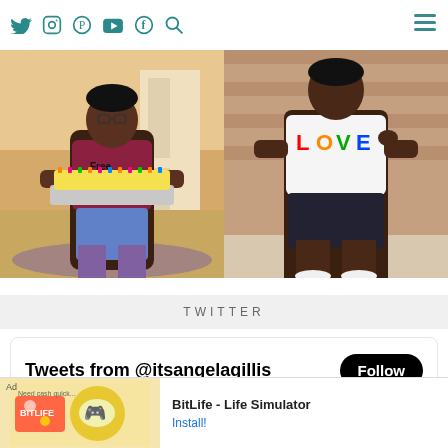Social media navigation bar with icons: Twitter, Instagram, Pinterest, YouTube, Facebook, Search, Hamburger menu
[Figure (photo): Two-panel photo: left shows a woman in a red 'Free Dobby' t-shirt and denim shorts holding a yellow cake; right shows a woman in a rainbow LOVE t-shirt and dark skirt standing in front of a brick wall]
TWITTER
[Figure (screenshot): Twitter widget showing 'Tweets from @itsangelagillis' with a Follow button and a preview of a tweet with avatar]
[Figure (screenshot): Ad banner: BitLife - Life Simulator with Install button]